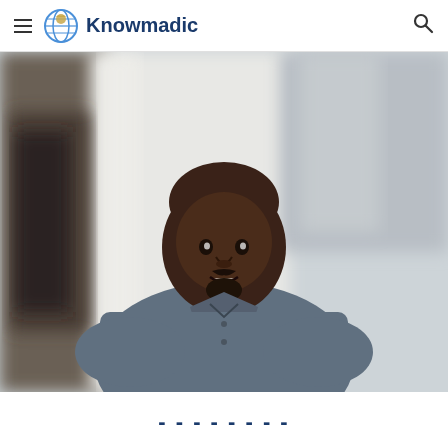Knowmadic
[Figure (photo): Portrait photo of a bald Black man with a short beard and mustache, wearing a grey button-up shirt, looking at camera with a slight smile. Background is blurred indoor/outdoor setting with soft light.]
...